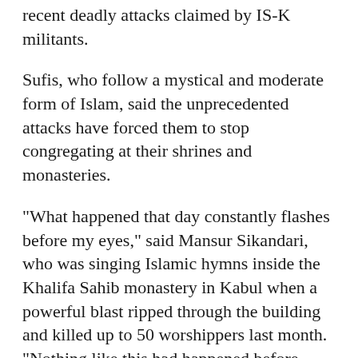recent deadly attacks claimed by IS-K militants.
Sufis, who follow a mystical and moderate form of Islam, said the unprecedented attacks have forced them to stop congregating at their shrines and monasteries.
"What happened that day constantly flashes before my eyes," said Mansur Sikandari, who was singing Islamic hymns inside the Khalifa Sahib monastery in Kabul when a powerful blast ripped through the building and killed up to 50 worshippers last month. "Nothing like this had happened before under any government."
Afghan women pay dearly for forced Taliban veils